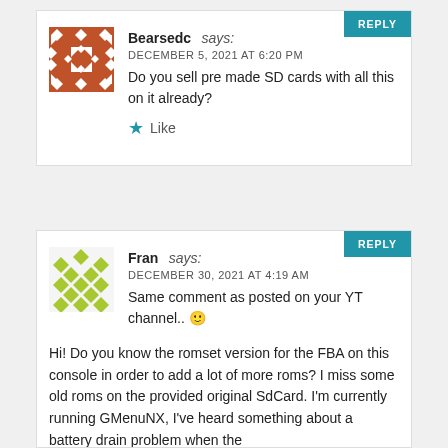Bearsedc says: DECEMBER 5, 2021 AT 6:20 PM
Do you sell pre made SD cards with all this on it already?
Like
Fran says: DECEMBER 30, 2021 AT 4:19 AM
Same comment as posted on your YT channel.. 🙂
Hi! Do you know the romset version for the FBA on this console in order to add a lot of more roms? I miss some old roms on the provided original SdCard. I'm currently running GMenuNX, I've heard something about a battery drain problem when the